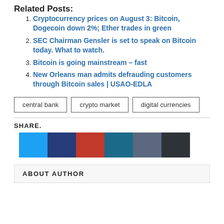Related Posts:
Cryptocurrency prices on August 3: Bitcoin, Dogecoin down 2%; Ether trades in green
SEC Chairman Gensler is set to speak on Bitcoin today. What to watch.
Bitcoin is going mainstream – fast
New Orleans man admits defrauding customers through Bitcoin sales | USAO-EDLA
central bank  crypto market  digital currencies
SHARE.
[Figure (other): Six social share buttons: Twitter (light blue), Facebook (dark blue), Pinterest (red), LinkedIn (dark teal), Email (slate blue-gray), More (dark charcoal)]
ABOUT AUTHOR